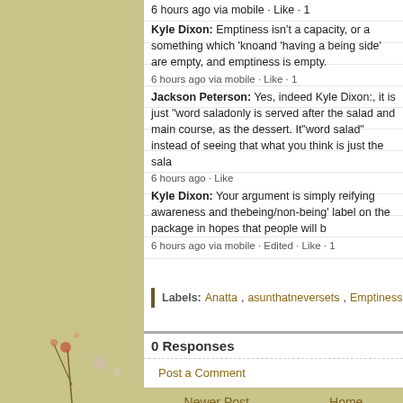6 hours ago via mobile · Like · 1
Kyle Dixon: Emptiness isn't a capacity, or a something which 'kn... and 'having a being side' are empty, and emptiness is empty.
6 hours ago via mobile · Like · 1
Jackson Peterson: Yes, indeed Kyle Dixon:, it is just "word salad"... only is served after the salad and main course, as the dessert. It... "word salad" instead of seeing that what you think is just the sala...
6 hours ago · Like
Kyle Dixon: Your argument is simply reifying awareness and the... being/non-being' label on the package in hopes that people will b...
6 hours ago via mobile · Edited · Like · 1
Labels: Anatta, asunthatneversets, Emptiness, Thought
0 Responses
Post a Comment
Newer Post
Home
Subscribe to: Post Comments (Atom)